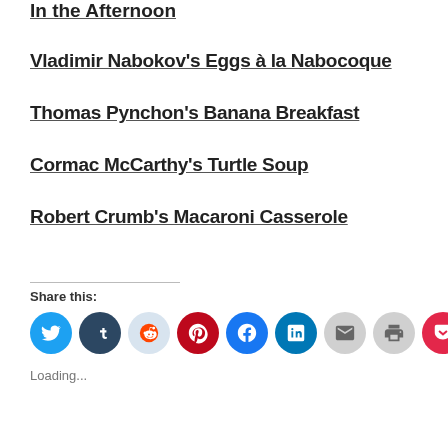In the Afternoon
Vladimir Nabokov's Eggs à la Nabocoque
Thomas Pynchon's Banana Breakfast
Cormac McCarthy's Turtle Soup
Robert Crumb's Macaroni Casserole
Share this:
[Figure (other): Social share buttons: Twitter, Tumblr, Reddit, Pinterest, Facebook, LinkedIn, Email, Print, Pocket]
Loading...